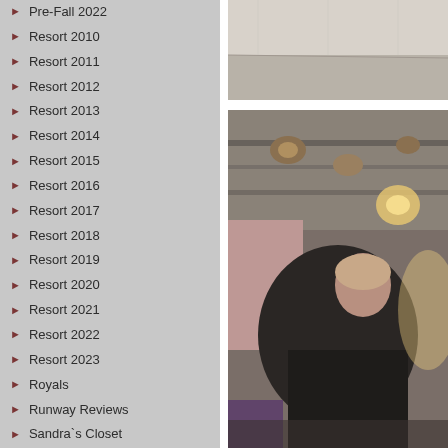Pre-Fall 2022
Resort 2010
Resort 2011
Resort 2012
Resort 2013
Resort 2014
Resort 2015
Resort 2016
Resort 2017
Resort 2018
Resort 2019
Resort 2020
Resort 2021
Resort 2022
Resort 2023
Royals
Runway Reviews
Sandra`s Closet
Shoes
Shop the Closet
Shops
Skirts
[Figure (photo): Top portion: a light-colored wall and floor interior space, gray/beige tones.]
[Figure (photo): Bottom portion: a person in a dark jacket in what appears to be a backstage or studio setting with industrial lighting overhead. Purple/warm tones visible in background.]